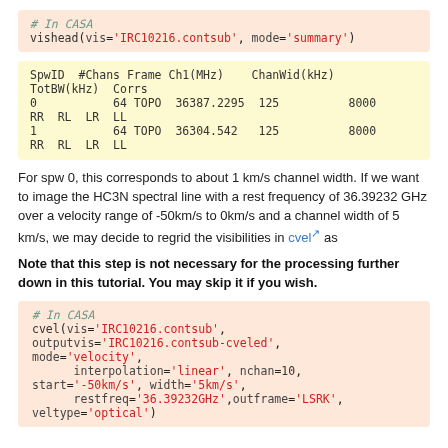# In CASA
vishead(vis='IRC10216.contsub', mode='summary')
| SpwID | #Chans | Frame | Ch1(MHz) | ChanWid(kHz) | TotBW(kHz) | Corrs |
| --- | --- | --- | --- | --- | --- | --- |
| 0 | 64 | TOPO | 36387.2295 | 125 | 8000 | RR  RL  LR  LL |
| 1 | 64 | TOPO | 36304.542 | 125 | 8000 | RR  RL  LR  LL |
For spw 0, this corresponds to about 1 km/s channel width. If we want to image the HC3N spectral line with a rest frequency of 36.39232 GHz over a velocity range of -50km/s to 0km/s and a channel width of 5 km/s, we may decide to regrid the visibilities in cvel as
Note that this step is not necessary for the processing further down in this tutorial. You may skip it if you wish.
# In CASA
cvel(vis='IRC10216.contsub',
outputvis='IRC10216.contsub-cveled',
mode='velocity',
      interpolation='linear', nchan=10,
start='-50km/s', width='5km/s',
      restfreq='36.39232GHz',outframe='LSRK',
veltype='optical')